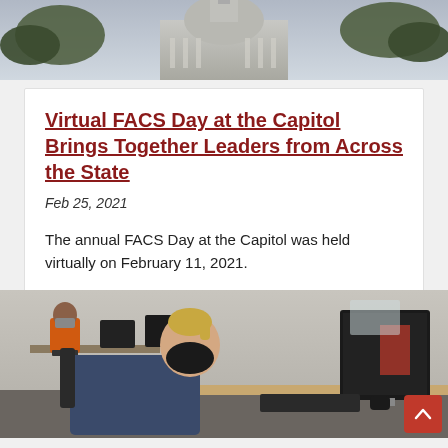[Figure (photo): Top of a government capitol building with trees visible, exterior architectural photo in winter/grey sky]
Virtual FACS Day at the Capitol Brings Together Leaders from Across the State
Feb 25, 2021
The annual FACS Day at the Capitol was held virtually on February 11, 2021.
[Figure (photo): Students wearing masks working at computers in a computer lab or classroom setting. A woman with blond hair in a ponytail in the foreground uses a keyboard, another student in an orange top is visible in the background.]